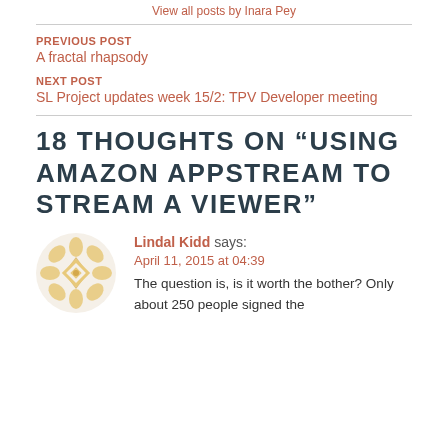View all posts by Inara Pey
PREVIOUS POST
A fractal rhapsody
NEXT POST
SL Project updates week 15/2: TPV Developer meeting
18 THOUGHTS ON “USING AMAZON APPSTREAM TO STREAM A VIEWER”
[Figure (illustration): Circular avatar with a gold/tan decorative geometric pattern on white background]
Lindal Kidd says:
April 11, 2015 at 04:39
The question is, is it worth the bother? Only about 250 people signed the